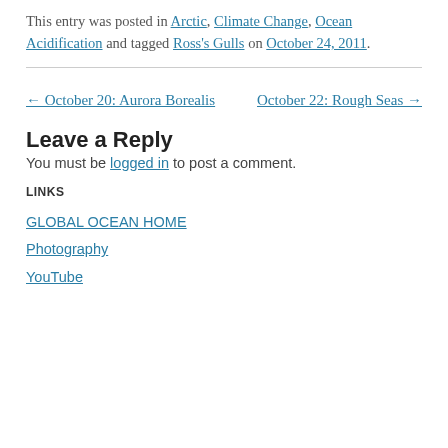This entry was posted in Arctic, Climate Change, Ocean Acidification and tagged Ross's Gulls on October 24, 2011.
← October 20: Aurora Borealis    October 22: Rough Seas →
Leave a Reply
You must be logged in to post a comment.
LINKS
GLOBAL OCEAN HOME
Photography
YouTube